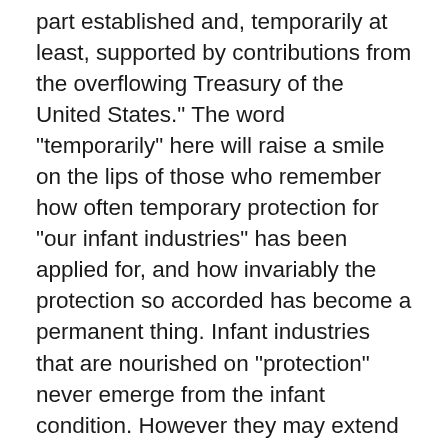part established and, temporarily at least, supported by contributions from the overflowing Treasury of the United States." The word "temporarily" here will raise a smile on the lips of those who remember how often temporary protection for "our infant industries" has been applied for, and how invariably the protection so accorded has become a permanent thing. Infant industries that are nourished on "protection" never emerge from the infant condition. However they may extend and expand, they never voluntarily forego the leading-strings or the pap-bottle; and so we shrewdly suspect it would be with the schools "temporarily" assisted by the Federal Government. If, in the course of a few years, they demonstrated their ability to dispense with such assistance, they would do what has seldom been done in this world. It is a most unusual thing for any organism to close an easy channel of alimentation, in order to depend exclusively upon one more difficult. Let the Treasury of the United States once